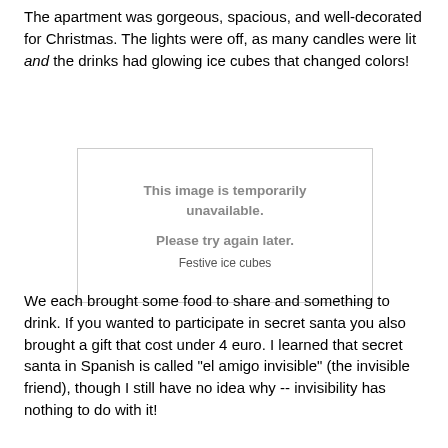The apartment was gorgeous, spacious, and well-decorated for Christmas.  The lights were off, as many candles were lit and the drinks had glowing ice cubes that changed colors!
[Figure (photo): Placeholder image box with text: 'This image is temporarily unavailable. Please try again later.' Caption: 'Festive ice cubes']
Festive ice cubes
We each brought some food to share and something to drink.  If you wanted to participate in secret santa you also brought a gift that cost under 4 euro.  I learned that secret santa in Spanish is called "el amigo invisible" (the invisible friend), though I still have no idea why -- invisibility has nothing to do with it!